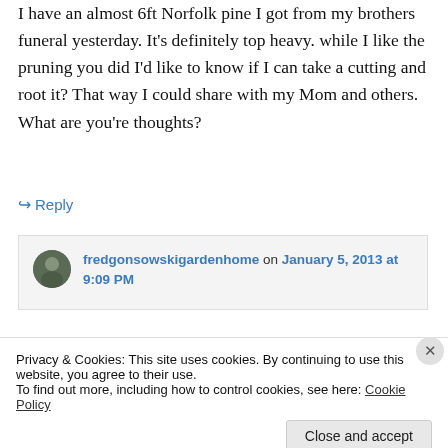I have an almost 6ft Norfolk pine I got from my brothers funeral yesterday. It's definitely top heavy. while I like the pruning you did I'd like to know if I can take a cutting and root it? That way I could share with my Mom and others. What are you're thoughts?
↪ Reply
fredgonsowskigardenhome on January 5, 2013 at 9:09 PM
Privacy & Cookies: This site uses cookies. By continuing to use this website, you agree to their use.
To find out more, including how to control cookies, see here: Cookie Policy
Close and accept